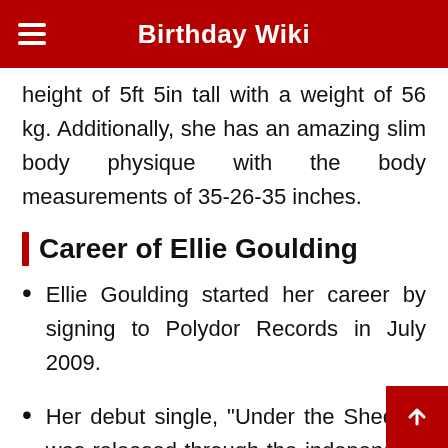Birthday Wiki
height of 5ft 5in tall with a weight of 56 kg. Additionally, she has an amazing slim body physique with the body measurements of 35-26-35 inches.
Career of Ellie Goulding
Ellie Goulding started her career by signing to Polydor Records in July 2009.
Her debut single, "Under the Sheets", was released through the independent label Neon Gold Records, appearing digitally